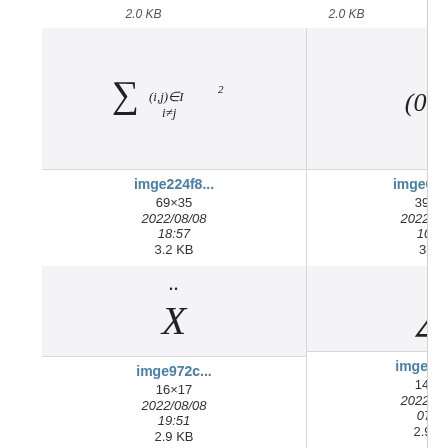[Figure (math-figure): Math formula: sum over (i,j) in I^2 with i≠j]
imge224f8...
69×35
2022/08/08
18:57
3.2 KB
[Figure (math-figure): Math formula: (0, 0)]
imge660f3...
39×19
2022/08/09
10:52
3 KB
[Figure (math-figure): Math symbol: X with double dot (Ẍ)]
imge972c...
16×17
2022/08/08
19:51
2.9 KB
[Figure (math-figure): Math symbol: triangle (△)]
imge2664...
14×13
2022/08/10
07:05
2.9 KB